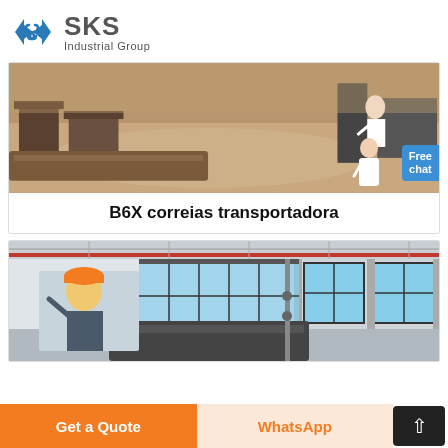SKS Industrial Group
[Figure (photo): Industrial factory floor showing steel structures and conveyor belt equipment with a representative person and a Free chat button overlay]
B6X correias transportadora
[Figure (photo): Industrial warehouse interior with large windows, ceiling structure, and a worker wearing a hard hat in the foreground]
Get a Quote
WhatsApp